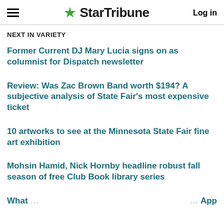StarTribune — Log in
NEXT IN VARIETY
Former Current DJ Mary Lucia signs on as columnist for Dispatch newsletter
Review: Was Zac Brown Band worth $194? A subjective analysis of State Fair's most expensive ticket
10 artworks to see at the Minnesota State Fair fine art exhibition
Mohsin Hamid, Nick Hornby headline robust fall season of free Club Book library series
What … App